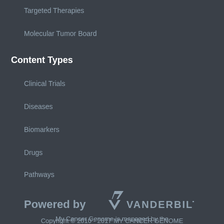Targeted Therapies
Molecular Tumor Board
Content Types
Clinical Trials
Diseases
Biomarkers
Drugs
Pathways
[Figure (logo): Vanderbilt University logo with text 'Powered by VANDERBILT']
My Cancer Genome is managed by the Vanderbilt-Ingram Cancer Center
Copyright © 2010 - 2017 MY CANCER GENOME